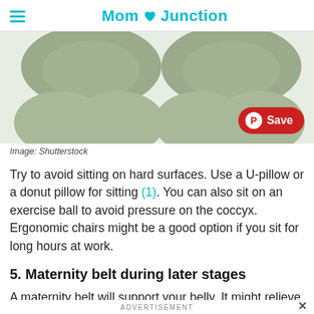Mom Junction
[Figure (photo): Close-up photo of two green/sage colored inflatable or foam U-shaped or donut pillows on a white background, viewed from above. A red Pinterest Save button is overlaid in the bottom right corner.]
Image: Shutterstock
Try to avoid sitting on hard surfaces. Use a U-pillow or a donut pillow for sitting (1). You can also sit on an exercise ball to avoid pressure on the coccyx. Ergonomic chairs might be a good option if you sit for long hours at work.
5. Maternity belt during later stages
A maternity belt will support your belly. It might relieve fatigue by reducing pressure on the lower
ADVERTISEMENT